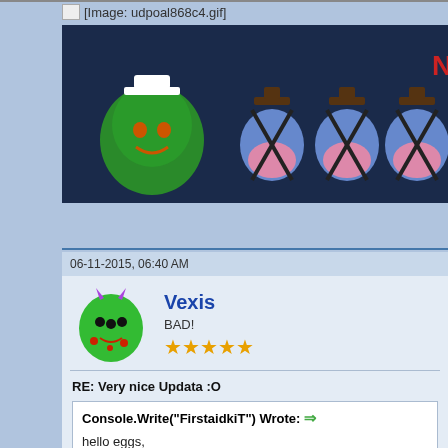[Figure (screenshot): Image placeholder text: [Image: udpoal868c4.gif]]
[Figure (screenshot): Game banner showing a green blob character with sailor hat and blue bird characters with X marks on dark navy background]
[Figure (screenshot): Blue Find button with magnifying glass icon]
06-11-2015, 06:40 AM
Vexis
BAD!
★★★★★
RE: Very nice Updata :O
Console.Write("FirstaidkiT") Wrote: ⇒
hello eggs,
i hope a lot of boosters are happy, anyway is nice the game is still impro
resolution). Bigger distance between eggs. More modes like wall share

PS. We need incresingly update